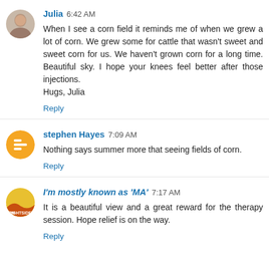Julia 6:42 AM
When I see a corn field it reminds me of when we grew a lot of corn. We grew some for cattle that wasn't sweet and sweet corn for us. We haven't grown corn for a long time. Beautiful sky. I hope your knees feel better after those injections.
Hugs, Julia
Reply
stephen Hayes 7:09 AM
Nothing says summer more that seeing fields of corn.
Reply
I'm mostly known as 'MA' 7:17 AM
It is a beautiful view and a great reward for the therapy session. Hope relief is on the way.
Reply